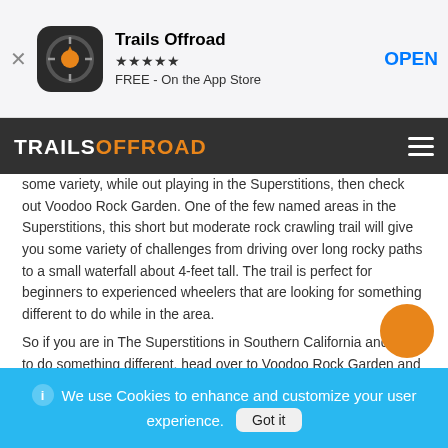[Figure (screenshot): App Store banner showing Trails Offroad app icon with compass/gear logo, 5-star rating, FREE - On the App Store text, and OPEN button]
[Figure (screenshot): Trails Offroad dark navigation bar with white TRAILS and orange OFFROAD logo text and hamburger menu icon]
some variety, while out playing in the Superstitions, then check out Voodoo Rock Garden. One of the few named areas in the Superstitions, this short but moderate rock crawling trail will give you some variety of challenges from driving over long rocky paths to a small waterfall about 4-feet tall. The trail is perfect for beginners to experienced wheelers that are looking for something different to do while in the area.
So if you are in The Superstitions in Southern California and want to do something different, head over to Voodoo Rock Garden and enjoy some rock crawling.
Explore
Welcome
Map of Trails
We use Cookies to enhance and customize your user experience. Got it